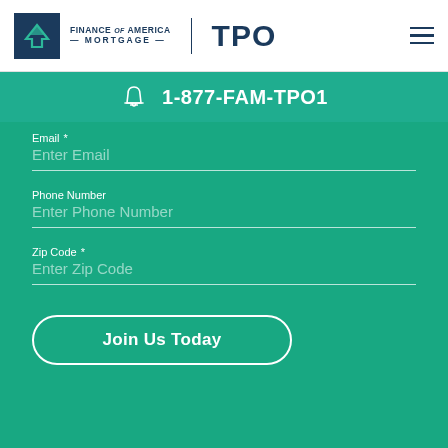Finance of America Mortgage | TPO
1-877-FAM-TPO1
Email *
Enter Email
Phone Number
Enter Phone Number
Zip Code *
Enter Zip Code
Join Us Today